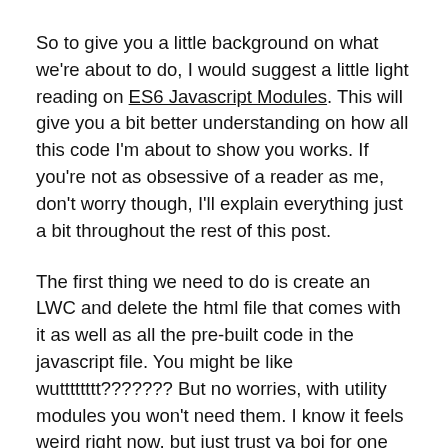So to give you a little background on what we're about to do, I would suggest a little light reading on ES6 Javascript Modules. This will give you a bit better understanding on how all this code I'm about to show you works. If you're not as obsessive of a reader as me, don't worry though, I'll explain everything just a bit throughout the rest of this post.
The first thing we need to do is create an LWC and delete the html file that comes with it as well as all the pre-built code in the javascript file. You might be like wutttttttt??????? But no worries, with utility modules you won't need them. I know it feels weird right now, but just trust ya boi for one sec.
Next let's take a look at a very simple LWC module with some exports in it. The name of the below LWC is "utilitymodule". Keep in mind as long as you name it will